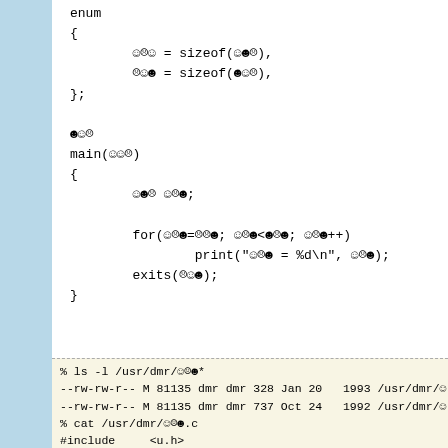enum
{
        ☺☹☺ = sizeof(☺☻☹),
        ☹☺☻ = sizeof(☻☺☹),
};

☻☺☹
main(☺☺☹)
{
        ☺☻☹ ☺☹☻;

        for(☺☹☻=☹☹☻; ☺☹☻<☻☹☻; ☺☹☻++)
                print("☺☹☻ = %d\n", ☺☹☻);
        exits(☹☺☻);
}
% ls -l /usr/dmr/☺☹☻*
--rw-rw-r-- M 81135 dmr dmr 328 Jan 20   1993 /usr/dmr/☺
--rw-rw-r-- M 81135 dmr dmr 737 Oct 24   1992 /usr/dmr/☺
% cat /usr/dmr/☺☹☻.c
#include     <u.h>
#include     <libc.h>

typedef int     ☺☻☹;
typedef void    ☻☺☹;